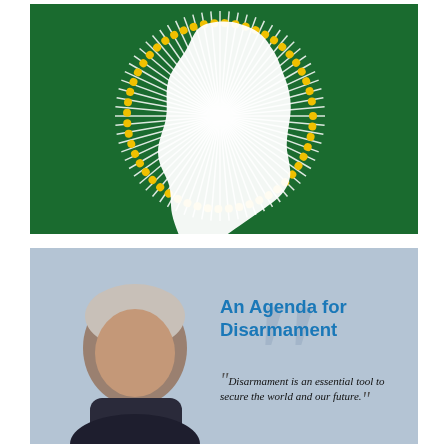[Figure (logo): African Union flag: dark green background with white map of Africa at center surrounded by a circle of gold/yellow stars and white sunburst rays radiating from behind the map.]
[Figure (photo): Light blue-grey panel showing a man in the left half (grey-haired, elderly, facing slightly left) and on the right a large decorative quotation mark watermark. Text reads: 'An Agenda for Disarmament' in bold blue, then italic quote: 'Disarmament is an essential tool to secure the world and our future.']
An Agenda for Disarmament
Disarmament is an essential tool to secure the world and our future.